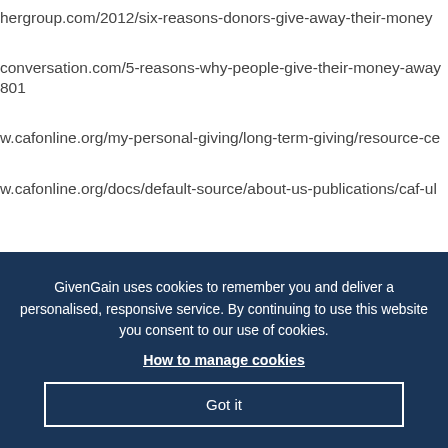hergroup.com/2012/six-reasons-donors-give-away-their-money
conversation.com/5-reasons-why-people-give-their-money-away
801
w.cafonline.org/my-personal-giving/long-term-giving/resource-ce
w.cafonline.org/docs/default-source/about-us-publications/caf-ul
GivenGain uses cookies to remember you and deliver a personalised, responsive service. By continuing to use this website you consent to our use of cookies.
How to manage cookies
Got it